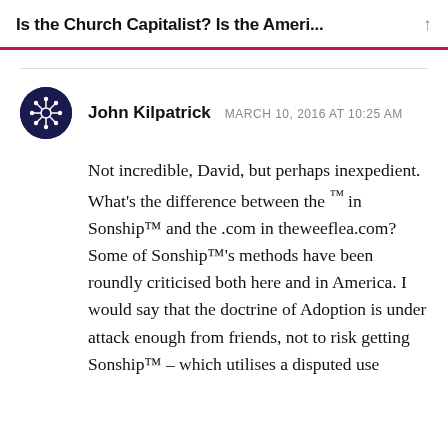Is the Church Capitalist? Is the Ameri...
John Kilpatrick   MARCH 10, 2016 AT 10:25 AM
Not incredible, David, but perhaps inexpedient. What's the difference between the ™ in Sonship™ and the .com in theweeflea.com? Some of Sonship™'s methods have been roundly criticised both here and in America. I would say that the doctrine of Adoption is under attack enough from friends, not to risk getting Sonship™ – which utilises a disputed use